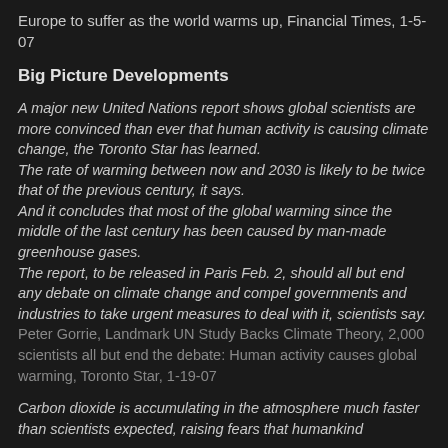Europe to suffer as the world warms up, Financial Times, 1-5-07
Big Picture Developments
A major new United Nations report shows global scientists are more convinced than ever that human activity is causing climate change, the Toronto Star has learned. The rate of warming between now and 2030 is likely to be twice that of the previous century, it says. And it concludes that most of the global warming since the middle of the last century has been caused by man-made greenhouse gases. The report, to be released in Paris Feb. 2, should all but end any debate on climate change and compel governments and industries to take urgent measures to deal with it, scientists say. Peter Gorrie, Landmark UN Study Backs Climate Theory, 2,000 scientists all but end the debate: Human activity causes global warming, Toronto Star, 1-19-07
Carbon dioxide is accumulating in the atmosphere much faster than scientists expected, raising fears that humankind